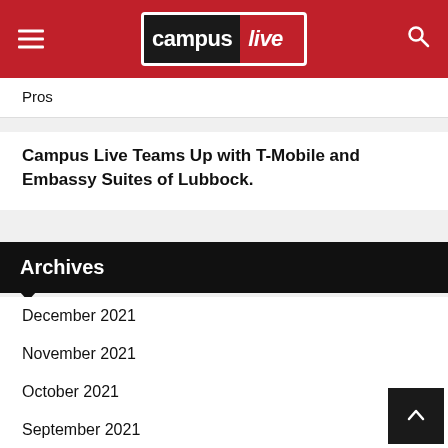campus live
Pros
Campus Live Teams Up with T-Mobile and Embassy Suites of Lubbock.
Archives
December 2021
November 2021
October 2021
September 2021
August 2021
July 2021
June 2021